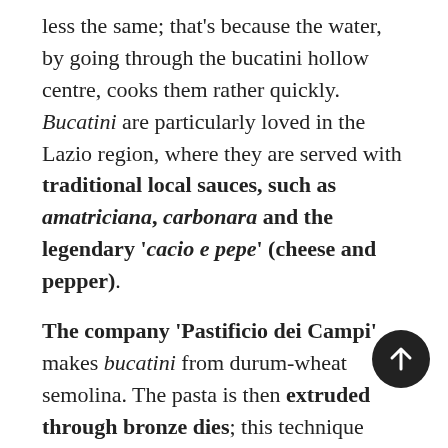less the same; that's because the water, by going through the bucatini hollow centre, cooks them rather quickly. Bucatini are particularly loved in the Lazio region, where they are served with traditional local sauces, such as amatriciana, carbonara and the legendary 'cacio e pepe' (cheese and pepper).
The company 'Pastificio dei Campi' makes bucatini from durum-wheat semolina. The pasta is then extruded through bronze dies; this technique allows for a rough pasta surface which best holds onto sauces. This company is located in Gragnano, in the region of Campania, which has been an ideal location for pasta production since the 16th century thanks to its mild and slightly humid climate. Gragnano obtained in 2013 the protected geographical indication (PGI) certification which guarantees the excellent quality of local products.